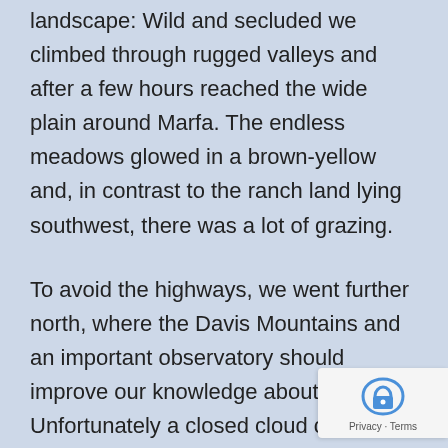landscape: Wild and secluded we climbed through rugged valleys and after a few hours reached the wide plain around Marfa. The endless meadows glowed in a brown-yellow and, in contrast to the ranch land lying southwest, there was a lot of grazing.
To avoid the highways, we went further north, where the Davis Mountains and an important observatory should improve our knowledge about the stars. Unfortunately a closed cloud cover was predicted for the next nights; thus our stay was limited to the exhibition and the souvenir shop.
Further north again, after the Baylor and Delaware Mountains, the Guadalupe and Carlsbad Caverns National Parks are located in the middle of the northern foothills